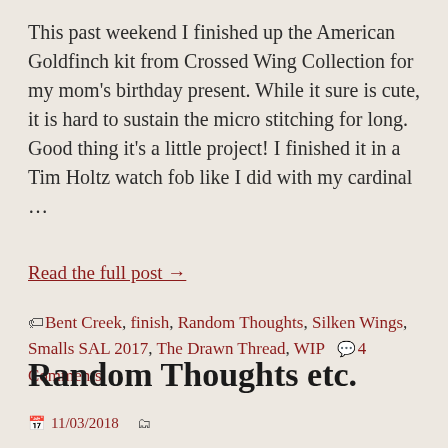This past weekend I finished up the American Goldfinch kit from Crossed Wing Collection for my mom's birthday present. While it sure is cute, it is hard to sustain the micro stitching for long. Good thing it's a little project! I finished it in a Tim Holtz watch fob like I did with my cardinal ...
Read the full post →
🏷 Bent Creek, finish, Random Thoughts, Silken Wings, Smalls SAL 2017, The Drawn Thread, WIP  💬 4 Comments
Random Thoughts etc.
📅 11/03/2018  🗂